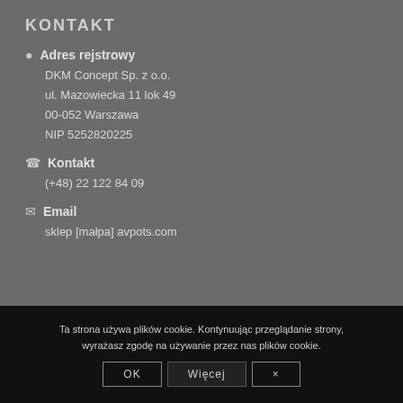KONTAKT
Adres rejestrowy
DKM Concept Sp. z o.o.
ul. Mazowiecka 11 lok 49
00-052 Warszawa
NIP 5252820225
Kontakt
(+48) 22 122 84 09
Email
sklep [małpa] avpots.com
Ta strona używa plików cookie. Kontynuując przeglądanie strony, wyrażasz zgodę na używanie przez nas plików cookie.
OK | Więcej | ×